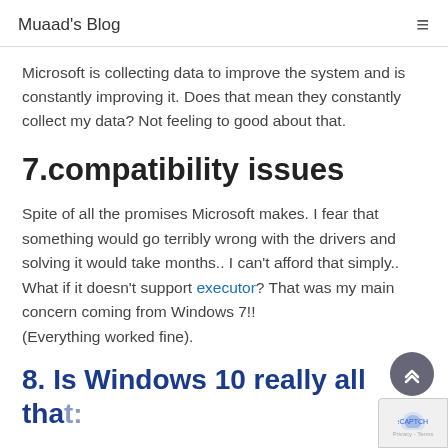Muaad's Blog
Microsoft is collecting data to improve the system and is constantly improving it. Does that mean they constantly collect my data? Not feeling to good about that.
7.compatibility issues
Spite of all the promises Microsoft makes. I fear that something would go terribly wrong with the drivers and solving it would take months.. I can't afford that simply.. What if it doesn't support executor? That was my main concern coming from Windows 7!! (Everything worked fine).
8. Is Windows 10 really all that: